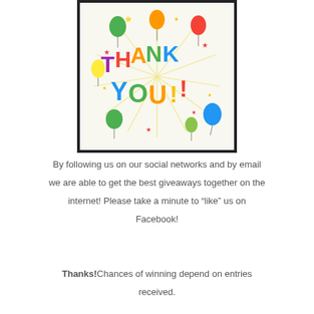[Figure (illustration): Colorful 'THANK YOU!!' text with rainbow-colored letters surrounded by balloons, stars, and confetti on a light background, within a thick black border frame.]
By following us on our social networks and by email we are able to get the best giveaways together on the internet! Please take a minute to “like” us on Facebook!
Thanks!Chances of winning depend on entries received.